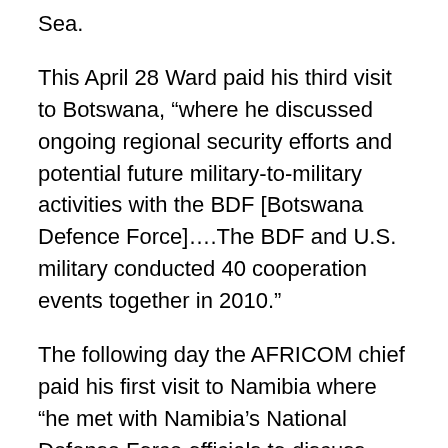Sea.
This April 28 Ward paid his third visit to Botswana, “where he discussed ongoing regional security efforts and potential future military-to-military activities with the BDF [Botswana Defence Force]....The BDF and U.S. military conducted 40 cooperation events together in 2010.”
The following day the AFRICOM chief paid his first visit to Namibia where “he met with Namibia’s National Defense Force officials to discuss potential future cooperation activities.” [34]
On April 27 Brigadier General Silver Kayemba, chief of training and operations for the Ugandan People’s Defense Force (UPDF), visited Washington to meet with Major General William B. Garrett III, commander of U.S. Army Africa.